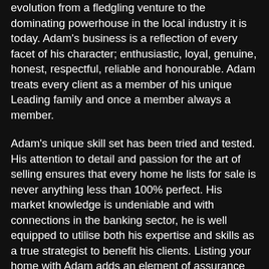evolution from a fledgling venture to the dominating powerhouse in the local industry it is today. Adam's business is a reflection of every facet of his character; enthusiastic, loyal, genuine, honest, respectful, reliable and honourable. Adam treats every client as a member of his unique Leading family and once a member always a member.
Adam's unique skill set has been tried and tested. His attention to detail and passion for the art of selling ensures that every home he lists for sale is never anything less than 100% perfect. His market knowledge is undeniable and with connections in the banking sector, he is well equipped to utilise both his expertise and skills as a true strategist to benefit his clients. Listing your home with Adam adds an element of assurance and confidence that you're in safe hands.
Awards:
Rate My Agent 2021 Awards - Suburb Winner Sunbury